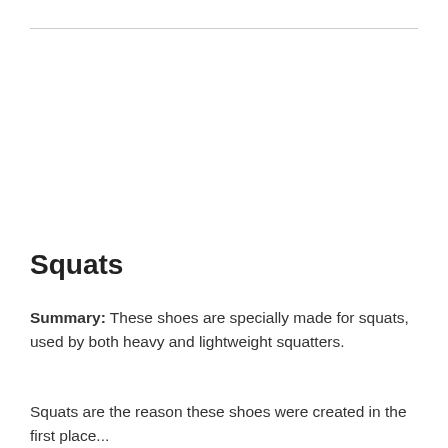Squats
Summary: These shoes are specially made for squats, used by both heavy and lightweight squatters.
Squats are the reason these shoes were created in the first place...